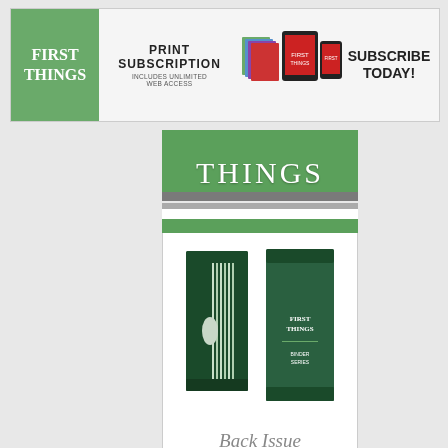[Figure (infographic): First Things magazine subscription banner ad. Left: green logo box with 'FIRST THINGS' in white. Center: 'PRINT SUBSCRIPTION INCLUDES UNLIMITED WEB ACCESS' with magazine/device images. Right: 'SUBSCRIBE TODAY!' in bold.]
[Figure (infographic): First Things magazine vertical advertisement. Green header showing 'THINGS' text (partial), gray and green stripe separators, white box with photo of dark green Back Issue Organizer binder product (open and closed views), text 'Back Issue Organizer', bottom green bar with 'Shop our' text, and additional gray/green stripes.]